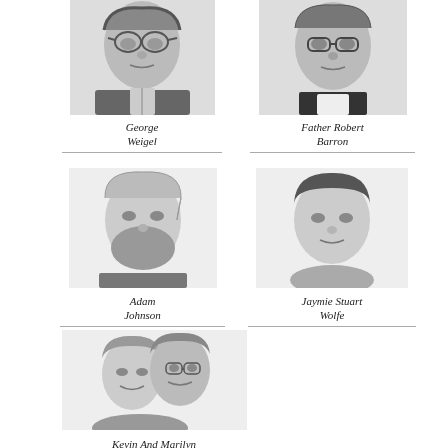[Figure (photo): Black and white portrait photo of George Weigel, a man wearing glasses and a suit]
George Weigel
[Figure (photo): Black and white portrait photo of Father Robert Barron, a man in clerical collar]
Father Robert Barron
[Figure (photo): Black and white portrait photo of Adam Johnson, a young man with a beard]
Adam Johnson
[Figure (photo): Black and white portrait photo of Jaymie Stuart Wolfe, a woman with short dark hair]
Jaymie Stuart Wolfe
[Figure (photo): Black and white illustrated portrait of Kevin and Marilyn Ryan, a couple together]
Kevin And Marilyn Ryan